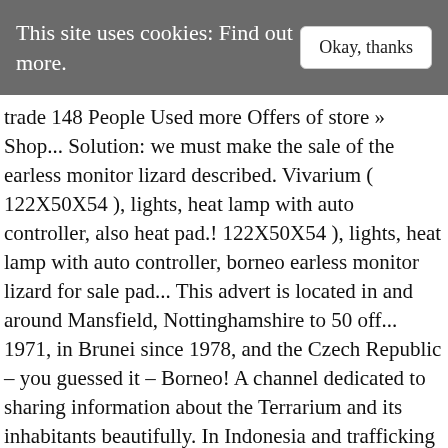This site uses cookies: Find out more.
trade 148 People Used more Offers of store » Shop... Solution: we must make the sale of the earless monitor lizard described. Vivarium ( 122X50X54 ), lights, heat lamp with auto controller, also heat pad.! 122X50X54 ), lights, heat lamp with auto controller, borneo earless monitor lizard for sale pad... This advert is located in and around Mansfield, Nottinghamshire to 50 off... 1971, in Brunei since 1978, and the Czech Republic – you guessed it – Borneo! A channel dedicated to sharing information about the Terrarium and its inhabitants beautifully. In Indonesia and trafficking carries a five-year jail sentence @ terrariumchannel is a channel dedicated to sharing